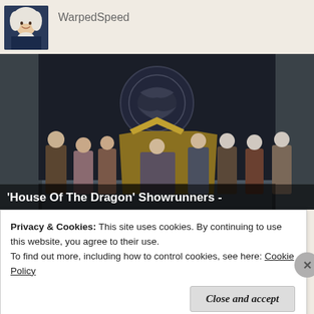[Figure (photo): Avatar photo of a person in historical costume with white wig and white cravat]
WarpedSpeed
[Figure (photo): Scene from 'House Of The Dragon' showing multiple characters in medieval fantasy costumes standing in a stone hall with a dragon sigil banner behind them. A figure sits on an ornate throne in the center.]
'House Of The Dragon' Showrunners -
Privacy & Cookies: This site uses cookies. By continuing to use this website, you agree to their use.
To find out more, including how to control cookies, see here: Cookie Policy
Close and accept